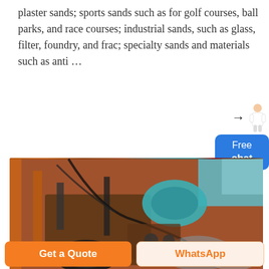plaster sands; sports sands such as for golf courses, ball parks, and race courses; industrial sands, such as glass, filter, foundry, and frac; specialty sands and materials such as anti …
[Figure (photo): Aerial or overhead view of heavy industrial machinery and equipment, showing construction or mining equipment with orange/brown metal frames, cables, a teal/green machine part, and rocky terrain in the background.]
Get a Quote
WhatsApp